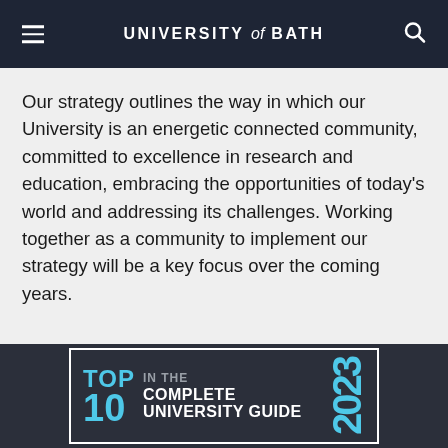UNIVERSITY of BATH
Our strategy outlines the way in which our University is an energetic connected community, committed to excellence in research and education, embracing the opportunities of today's world and addressing its challenges. Working together as a community to implement our strategy will be a key focus over the coming years.
[Figure (infographic): Badge reading TOP 10 IN THE COMPLETE UNIVERSITY GUIDE 2023 on a dark background with a white border, with blue accent color for TOP, 10, and 2023.]